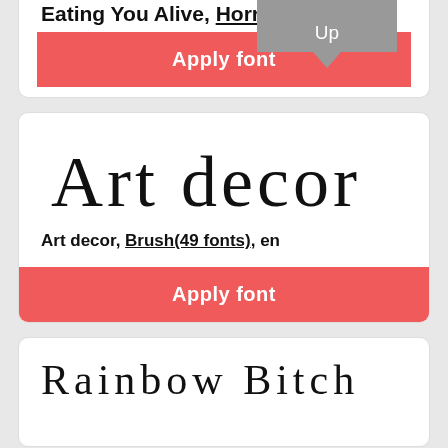Eating You Alive, Horror [Up tooltip]
Apply font
[Figure (screenshot): Art decor font preview showing stylized brush text 'Art decor']
Art decor, Brush(49 fonts), en
Apply font
[Figure (screenshot): Rainbow Bitch font preview in thin cursive handwriting style]
Rainbow Bitch